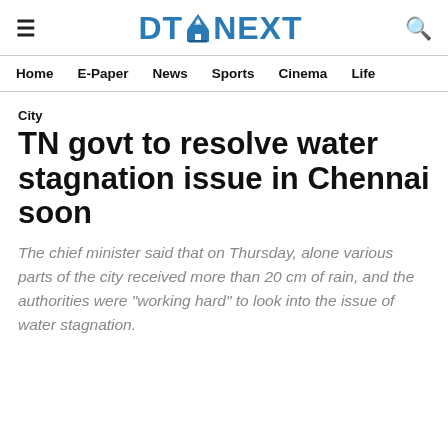DT NEXT
Home  E-Paper  News  Sports  Cinema  Life
City
TN govt to resolve water stagnation issue in Chennai soon
The chief minister said that on Thursday, alone various parts of the city received more than 20 cm of rain, and the authorities were "working hard" to look into the issue of water stagnation.